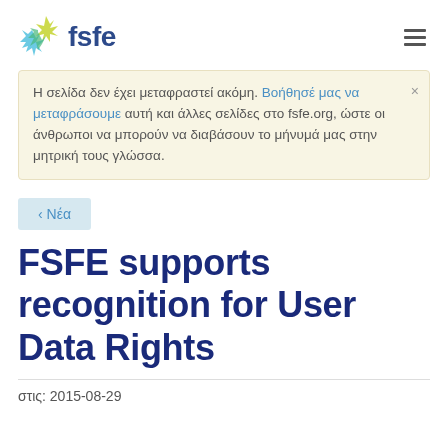fsfe
Η σελίδα δεν έχει μεταφραστεί ακόμη. Βοήθησέ μας να μεταφράσουμε αυτή και άλλες σελίδες στο fsfe.org, ώστε οι άνθρωποι να μπορούν να διαβάσουν το μήνυμά μας στην μητρική τους γλώσσα.
‹ Νέα
FSFE supports recognition for User Data Rights
στις: 2015-08-29